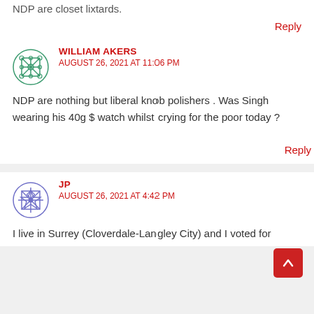NDP are closet lixtards.
Reply
WILLIAM AKERS
AUGUST 26, 2021 AT 11:06 PM
NDP are nothing but liberal knob polishers . Was Singh wearing his 40g $ watch whilst crying for the poor today ?
Reply
JP
AUGUST 26, 2021 AT 4:42 PM
I live in Surrey (Cloverdale-Langley City) and I voted for